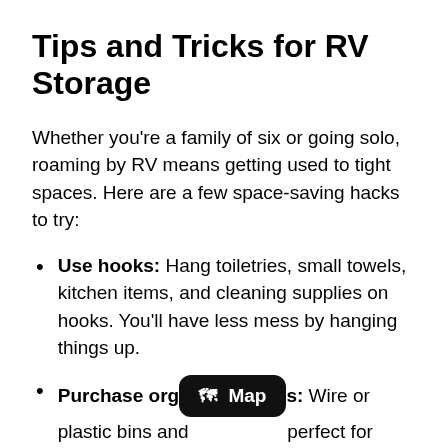Tips and Tricks for RV Storage
Whether you're a family of six or going solo, roaming by RV means getting used to tight spaces. Here are a few space-saving hacks to try:
Use hooks: Hang toiletries, small towels, kitchen items, and cleaning supplies on hooks. You'll have less mess by hanging things up.
Purchase organizers: Wire or plastic bins and [Map tooltip] perfect for keeping food, clothing, shoes, and